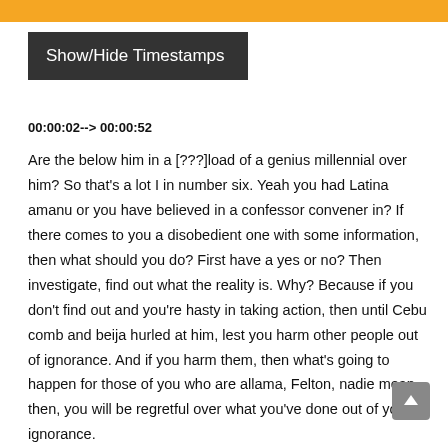Show/Hide Timestamps
00:00:02--> 00:00:52
Are the below him in a [???]load of a genius millennial over him? So that's a lot I in number six. Yeah you had Latina amanu or you have believed in a confessor convener in? If there comes to you a disobedient one with some information, then what should you do? First have a yes or no? Then investigate, find out what the reality is. Why? Because if you don't find out and you're hasty in taking action, then until Cebu comb and beija hurled at him, lest you harm other people out of ignorance. And if you harm them, then what's going to happen for those of you who are allama, Felton, nadie mean, then, you will be regretful over what you've done out of your ignorance.